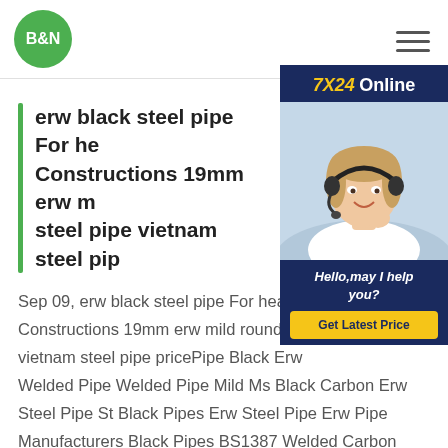B&N
[Figure (photo): Customer service representative with headset, smiling. Chat widget with '7X24 Online', 'Hello, may I help you?' and 'Get Latest Price' button.]
erw black steel pipe For heavy Constructions 19mm erw mild round steel pipe vietnam steel pipe
Sep 09, erw black steel pipe For heavy Constructions 19mm erw mild round steel pipe vietnam steel pipe pricePipe Black Erw Welded Pipe Welded Pipe Mild Ms Black Carbon Erw Steel Pipe St Black Pipes Erw Steel Pipe Erw Pipe Manufacturers Black Pipes BS1387 Welded Carbon ER Ms Steel ERW carbon ASTM A53 black iron pipe welded sch40 steel pipe for building material Oxygen